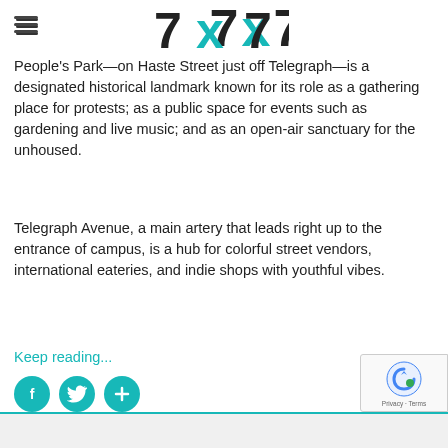7x7 (logo) with hamburger menu icon
People's Park—on Haste Street just off Telegraph—is a designated historical landmark known for its role as a gathering place for protests; as a public space for events such as gardening and live music; and as an open-air sanctuary for the unhoused.
Telegraph Avenue, a main artery that leads right up to the entrance of campus, is a hub for colorful street vendors, international eateries, and indie shops with youthful vibes.
Keep reading...
[Figure (other): Social sharing buttons: Facebook (f), Twitter (bird), and plus (+) icons in teal circles]
[Figure (other): reCAPTCHA badge with robot icon and Privacy - Terms text]